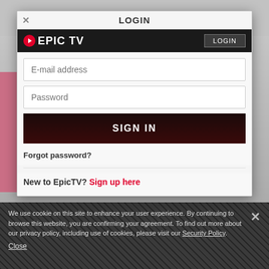LOGIN
[Figure (screenshot): EpicTV website login modal dialog with email and password fields, sign in button, forgot password link, and sign up link. Dark cookie consent bar at bottom.]
E-mail address
Password
SIGN IN
Forgot password?
New to EpicTV? Sign up here
We use cookie on this site to enhance your user experience. By continuing to browse this website, you are confirming your agreement. To find out more about our privacy policy, including use of cookies, please visit our Security Policy.
Close